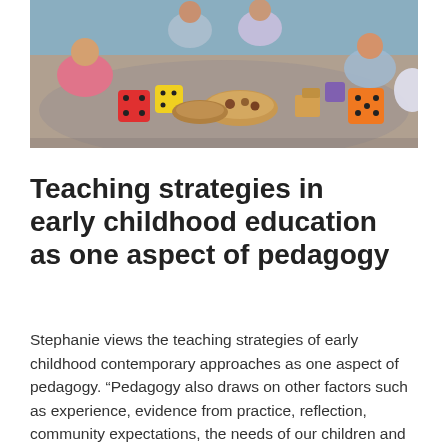[Figure (photo): Children sitting in a circle on a floor playing with colorful toys including dice, blocks, and wooden bowls with small items. A classroom or playroom setting.]
Teaching strategies in early childhood education as one aspect of pedagogy
Stephanie views the teaching strategies of early childhood contemporary approaches as one aspect of pedagogy. “Pedagogy also draws on other factors such as experience, evidence from practice, reflection, community expectations, the needs of our children and positive relationships with their families to develop our curriculum.”